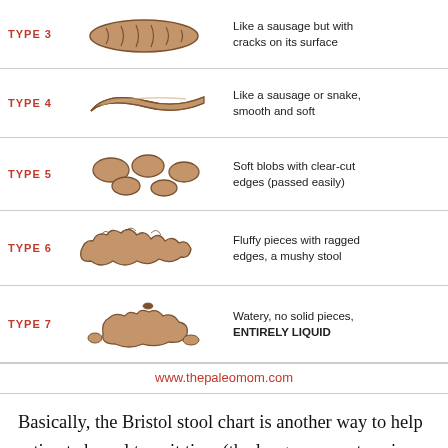[Figure (illustration): Bristol Stool Chart rows showing Types 3-7 with hand-drawn illustrations and descriptions, plus website URL www.thepaleomom.com]
Basically, the Bristol stool chart is another way to help estimate bowel transit time (the longer poop stays in our bodies, the more dry and hardened it becomes; the faster it exits, the more mushy and loose it will be). But, the chart can also be used to